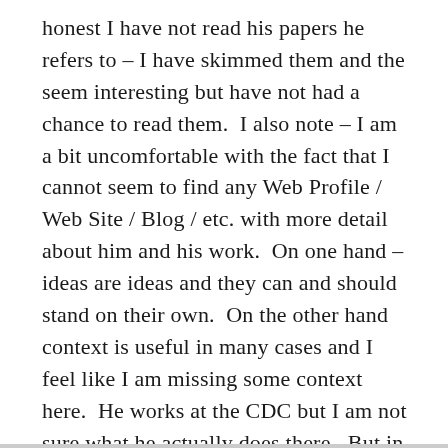honest I have not read his papers he refers to – I have skimmed them and the seem interesting but have not had a chance to read them.  I also note – I am a bit uncomfortable with the fact that I cannot seem to find any Web Profile / Web Site / Blog / etc. with more detail about him and his work.  On one hand – ideas are ideas and they can and should stand on their own.  On the other hand context is useful in many cases and I feel like I am missing some context here.  He works at the CDC but I am not sure what he actually does there.  But in the interest of open discussion of ideas and since, well, not having a web site is certainly not a crime, his post is below.